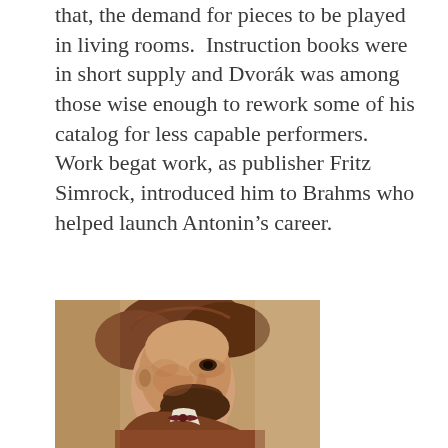that, the demand for pieces to be played in living rooms.  Instruction books were in short supply and Dvorák was among those wise enough to rework some of his catalog for less capable performers.  Work begat work, as publisher Fritz Simrock, introduced him to Brahms who helped launch Antonin's career.
[Figure (photo): Portrait painting of a bearded man in profile view, wearing a brown jacket and bow tie, with auburn/brown wavy hair.]